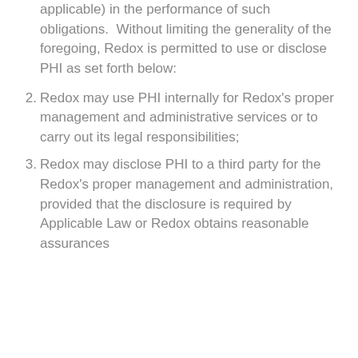applicable) in the performance of such obligations. Without limiting the generality of the foregoing, Redox is permitted to use or disclose PHI as set forth below:
2. Redox may use PHI internally for Redox's proper management and administrative services or to carry out its legal responsibilities;
3. Redox may disclose PHI to a third party for the Redox's proper management and administration, provided that the disclosure is required by Applicable Law or Redox obtains reasonable assurances